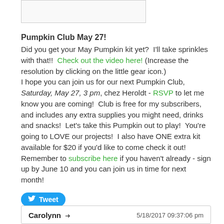[Figure (illustration): Partial image box at top, cropped illustration visible]
Pumpkin Club May 27!
Did you get your May Pumpkin kit yet?  I'll take sprinkles with that!!  Check out the video here! (Increase the resolution by clicking on the little gear icon.)
I hope you can join us for our next Pumpkin Club, Saturday, May 27, 3 pm, chez Heroldt - RSVP to let me know you are coming!  Club is free for my subscribers, and includes any extra supplies you might need, drinks and snacks!  Let's take this Pumpkin out to play!  You're going to LOVE our projects!  I also have ONE extra kit available for $20 if you'd like to come check it out!  Remember to subscribe here if you haven't already - sign up by June 10 and you can join us in time for next month!
Tweet
2 Comments
Carolynn → 5/18/2017 09:37:06 pm